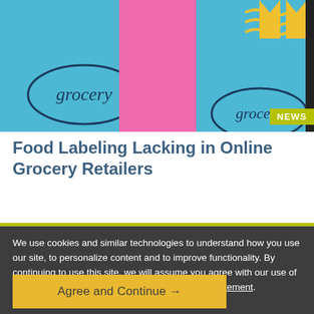[Figure (illustration): Colorful illustrated grocery-themed banner with blue background, pink shapes, and 'grocery' oval logos in dark outline on blue, with yellow crown-like shapes in top right corner.]
Food Labeling Lacking in Online Grocery Retailers
We use cookies and similar technologies to understand how you use our site, to personalize content and to improve functionality. By continuing to use this site, we will assume you agree with our use of these technologies as described in the Privacy Statement.
Agree and Continue →